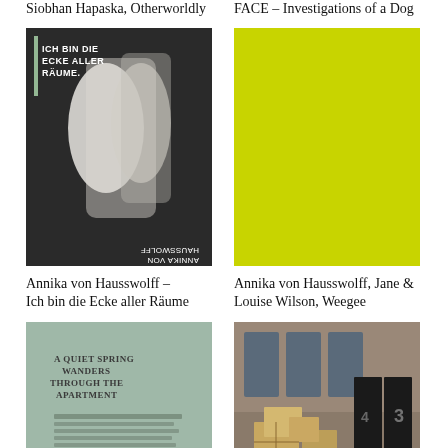Siobhan Hapaska, Otherworldly
FACE – Investigations of a Dog
[Figure (photo): Book cover: Annika von Hausswolff – Ich bin die Ecke aller Räume. Black and white photo showing figures, text on cover reads 'ICH BIN DIE ECKE ALLER RÄUME'. Upside-down text 'HAUSSWOLFF ANNIKA VON' at bottom.]
[Figure (illustration): Solid yellow-green (chartreuse) rectangle, book cover for Annika von Hausswolff, Jane & Louise Wilson, Weegee.]
Annika von Hausswolff – Ich bin die Ecke aller Räume
Annika von Hausswolff, Jane & Louise Wilson, Weegee
[Figure (photo): Book cover: A Quiet Spring Wanders Through the Apartment. Light teal/sage green cover with text and MAGASIN III Museum for Contemporary Art logo.]
[Figure (photo): Photo of cardboard boxes stacked near black doors numbered 3 and 4, in what appears to be a storage or loading area with brick walls.]
A Quiet Spring Wanders Through the Apartment
Reveal: Investigations of a Dog